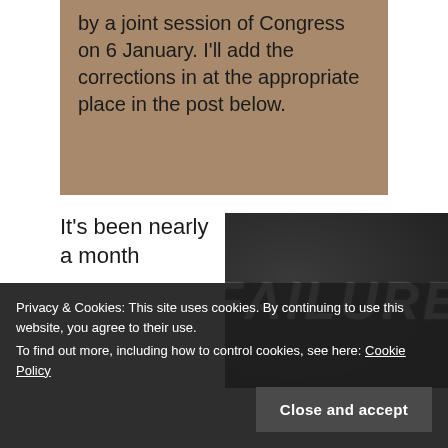by a joint session of Congress on 6 January. I'll add the corrections in at the appropriate place in the post below.
It's been nearly a month
[Figure (photo): Chalkboard with the word FAILURE written in chalk letters]
Privacy & Cookies: This site uses cookies. By continuing to use this website, you agree to their use.
To find out more, including how to control cookies, see here: Cookie Policy